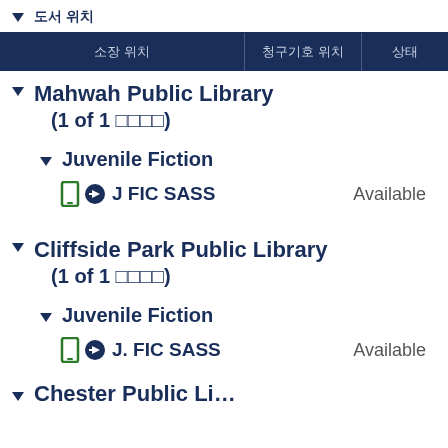도서 위치
| 소장 위치 | 청구기호 위치 | 상태 |
| --- | --- | --- |
| ▼ Mahwah Public Library (1 of 1 소장) |  |  |
|   ▼ Juvenile Fiction |  |  |
|   📱 ➡ J FIC SASS |  | Available |
| ▼ Cliffside Park Public Library (1 of 1 소장) |  |  |
|   ▼ Juvenile Fiction |  |  |
|   📱 ➡ J. FIC SASS |  | Available |
| ▼ Chester Public Li... |  |  |